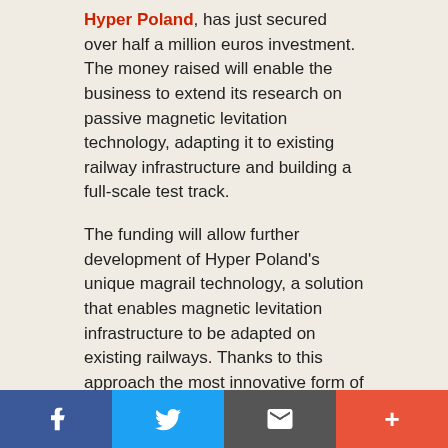Hyper Poland, has just secured over half a million euros investment. The money raised will enable the business to extend its research on passive magnetic levitation technology, adapting it to existing railway infrastructure and building a full-scale test track.
The funding will allow further development of Hyper Poland's unique magrail technology, a solution that enables magnetic levitation infrastructure to be adapted on existing railways. Thanks to this approach the most innovative form of transport will not require huge investments in a whole new infrastructure - explains Hyper Poland's CEO, Przemysaw Pczek.
However, it's important to note that Magrail is just the first step. The second is hyperrail, which will require the construction of vacuum tunnels over the magrail infrastructure. Vehicles would then speed up to 1000 kph. Stage three is hyperloop - the most innovative, fastest, most energy-efficient, thus the most„green" form of transport. With hyperloop, the magnetic capsules will accelerate to 1200 kph on an
Facebook | Twitter | Email | Plus